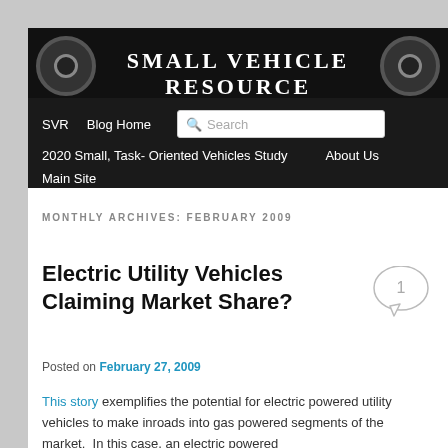Small Vehicle Resource
SVR | Blog Home | 2020 Small, Task- Oriented Vehicles Study | About Us | Main Site
MONTHLY ARCHIVES: FEBRUARY 2009
Electric Utility Vehicles Claiming Market Share?
Posted on February 27, 2009
This story exemplifies the potential for electric powered utility vehicles to make inroads into gas powered segments of the market.  In this case, an electric powered